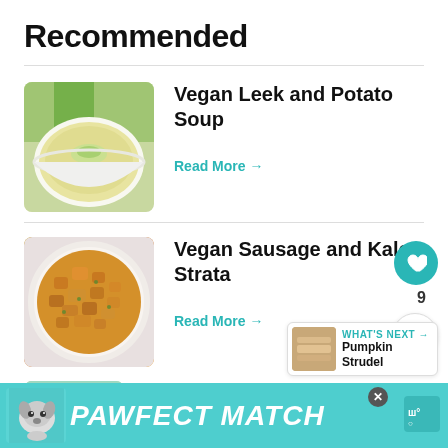Recommended
[Figure (photo): Bowl of vegan leek and potato soup with leek garnish]
Vegan Leek and Potato Soup
Read More →
[Figure (photo): Bowl of vegan sausage and kale strata, crouton-topped dish]
Vegan Sausage and Kale Strata
Read More →
9
WHAT'S NEXT → Pumpkin Strudel
[Figure (photo): Partial view of a third recipe (Vegan Cauliflower something)]
[Figure (advertisement): PAWFECT MATCH advertisement banner at bottom of page]